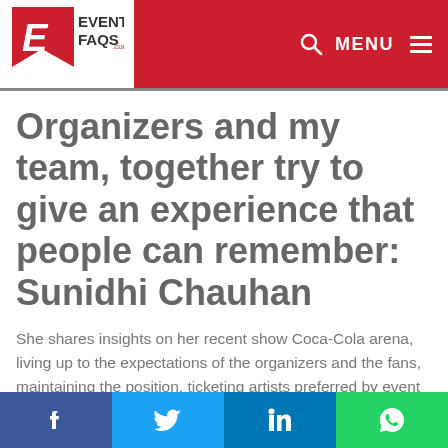EventFAQs.com
Organizers and my team, together try to give an experience that people can remember: Sunidhi Chauhan
She shares insights on her recent show Coca-Cola arena, living up to the expectations of the organizers and the fans, maintaining the position, ticketing artists preferred by event planners and more.
Facebook | Twitter | LinkedIn | WhatsApp